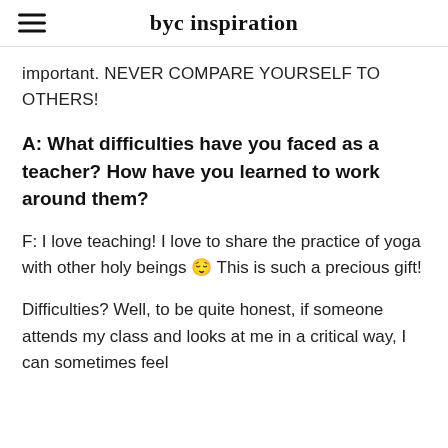byc inspiration
important. NEVER COMPARE YOURSELF TO OTHERS!
A: What difficulties have you faced as a teacher? How have you learned to work around them?
F: I love teaching! I love to share the practice of yoga with other holy beings 😌 This is such a precious gift!
Difficulties? Well, to be quite honest, if someone attends my class and looks at me in a critical way, I can sometimes feel